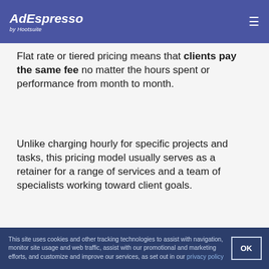AdEspresso by Hootsuite
Flat rate or tiered pricing means that clients pay the same fee no matter the hours spent or performance from month to month.
Unlike charging hourly for specific projects and tasks, this pricing model usually serves as a retainer for a range of services and a team of specialists working toward client goals.
Why it Works
[Figure (photo): Partially visible photo below Why it Works section header]
This site uses cookies and other tracking technologies to assist with navigation, monitor site usage and web traffic, assist with our promotional and marketing efforts, and customize and improve our services, as set out in our privacy policy